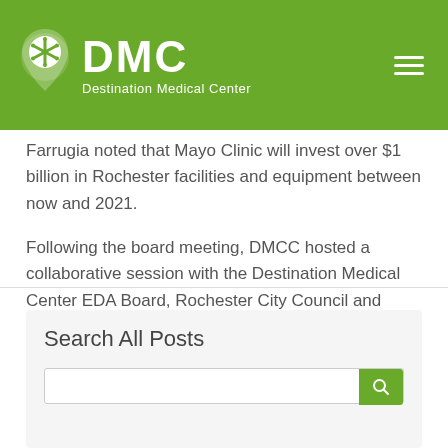[Figure (logo): DMC Destination Medical Center logo with asterisk/pin icon on green header bar with hamburger menu]
Farrugia noted that Mayo Clinic will invest over $1 billion in Rochester facilities and equipment between now and 2021.
Following the board meeting, DMCC hosted a collaborative session with the Destination Medical Center EDA Board, Rochester City Council and Olmsted County Board of Commissioners.
Search All Posts